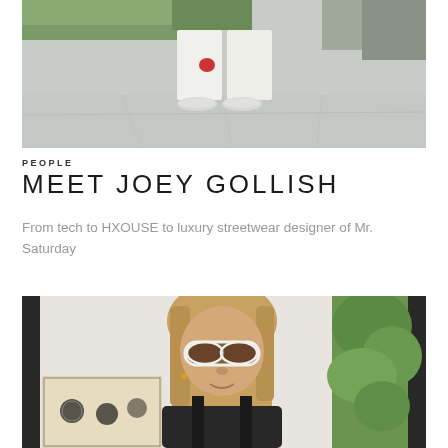[Figure (photo): Person wearing white pants and sneakers standing outdoors on a concrete surface with greenery in the background]
PEOPLE
MEET JOEY GOLLISH
From tech to HXOUSE to luxury streetwear designer of Mr. Saturday
[Figure (photo): Woman with long hair wearing white cat-eye sunglasses and dark clothing, standing in front of a framed artwork and green plants]